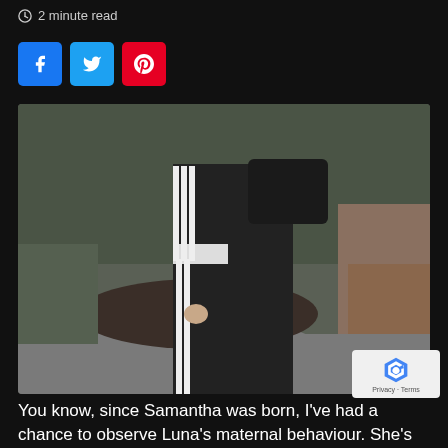2 minute read
[Figure (other): Social share buttons: Facebook (blue), Twitter (light blue), Pinterest (red)]
[Figure (photo): A person wearing black Adidas tracksuit with white stripes on the pants and a white jacket, carrying a black bag, walking outdoors on a path with greenery and fallen leaves in the background.]
[Figure (other): Google reCAPTCHA badge with Privacy and Terms text]
You know, since Samantha was born, I've had a chance to observe Luna's maternal behaviour. She's